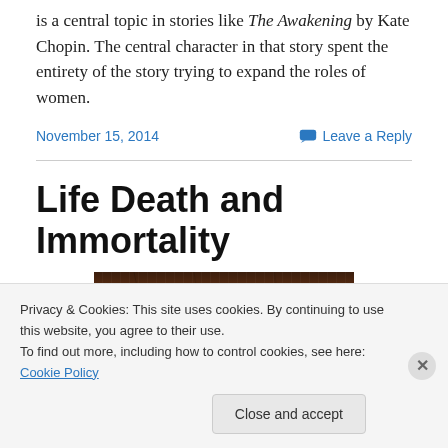is a central topic in stories like The Awakening by Kate Chopin. The central character in that story spent the entirety of the story trying to expand the roles of women.
November 15, 2014   Leave a Reply
Life Death and Immortality
[Figure (photo): Dark brown wood texture photograph, close-up of weathered wooden surface]
Privacy & Cookies: This site uses cookies. By continuing to use this website, you agree to their use.
To find out more, including how to control cookies, see here: Cookie Policy
Close and accept